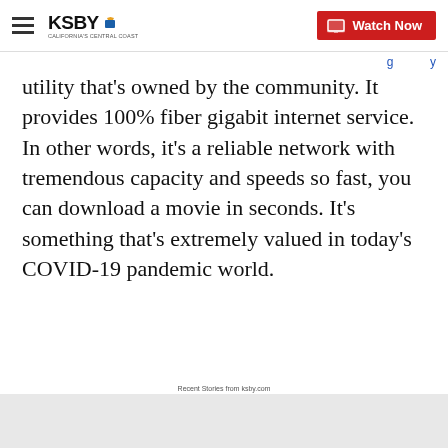KSBY — California's Central Coast | Watch Now
utility that's owned by the community. It provides 100% fiber gigabit internet service. In other words, it's a reliable network with tremendous capacity and speeds so fast, you can download a movie in seconds. It's something that's extremely valued in today's COVID-19 pandemic world.
Recent Stories from ksby.com
[Figure (photo): Three men standing in front of a Chamber of Commerce banner backdrop with balloon decorations. A close button overlay appears in the lower right corner.]